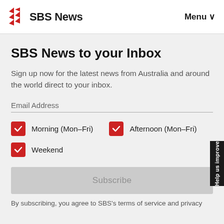SBS News  Menu
SBS News to your Inbox
Sign up now for the latest news from Australia and around the world direct to your inbox.
Email Address
Morning (Mon–Fri)
Afternoon (Mon–Fri)
Weekend
Subscribe
By subscribing, you agree to SBS's terms of service and privacy